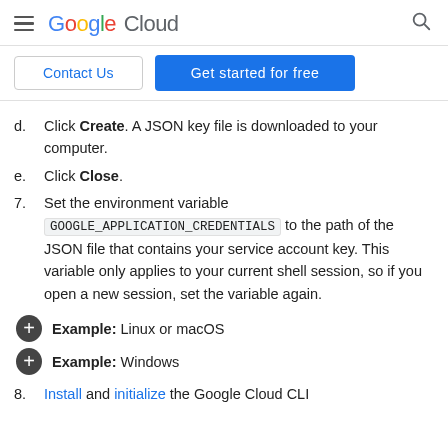Google Cloud
d. Click Create. A JSON key file is downloaded to your computer.
e. Click Close.
7. Set the environment variable GOOGLE_APPLICATION_CREDENTIALS to the path of the JSON file that contains your service account key. This variable only applies to your current shell session, so if you open a new session, set the variable again.
Example: Linux or macOS
Example: Windows
8. Install and initialize the Google Cloud CLI